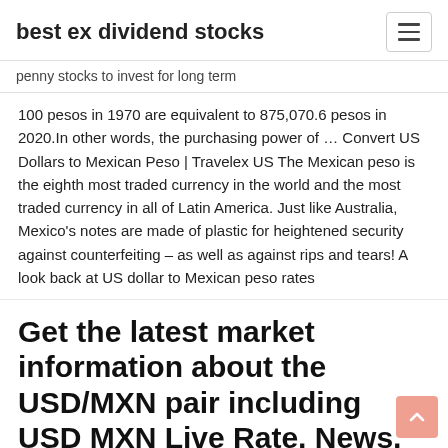best ex dividend stocks
penny stocks to invest for long term
100 pesos in 1970 are equivalent to 875,070.6 pesos in 2020.In other words, the purchasing power of … Convert US Dollars to Mexican Peso | Travelex US The Mexican peso is the eighth most traded currency in the world and the most traded currency in all of Latin America. Just like Australia, Mexico's notes are made of plastic for heightened security against counterfeiting – as well as against rips and tears! A look back at US dollar to Mexican peso rates
Get the latest market information about the USD/MXN pair including USD MXN Live Rate, News, US Dollar and Mexican